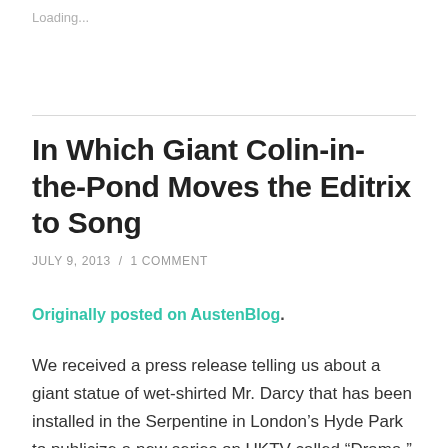Loading...
In Which Giant Colin-in-the-Pond Moves the Editrix to Song
JULY 9, 2013  /  1 COMMENT
Originally posted on AustenBlog.
We received a press release telling us about a giant statue of wet-shirted Mr. Darcy that has been installed in the Serpentine in London’s Hyde Park to publicize a new series on UKTV called “Drama.”